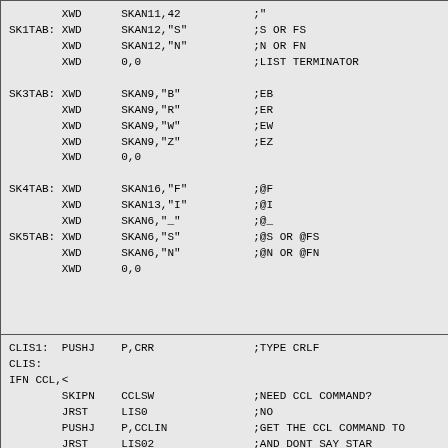XWD SKAN11,42 ;" SK1TAB: XWD SKAN12,"S" ;S OR FS XWD SKAN12,"N" ;N OR FN XWD 0,0 ;LIST TERMINATOR SK3TAB: XWD SKAN9,"B" ;EB XWD SKAN9,"R" ;ER XWD SKAN9,"W" ;EW XWD SKAN9,"Z" ;EZ XWD 0,0 SK4TAB: XWD SKAN16,"F" ;@F XWD SKAN13,"I" ;@I XWD SKAN6,"_" ;@_ SK5TAB: XWD SKAN6,"S" ;@S OR @FS XWD SKAN6,"N" ;@N OR @FN XWD 0,0
CLIS1: PUSHJ P,CRR ;TYPE CRLF CLIS: IFN CCL,< SKIPN CCLSW ;NEED CCL COMMAND? JRST LIS0 ;NO PUSHJ P,CCLIN ;GET THE CCL COMMAND TO JRST LIS02 ;AND DONT SAY STAR > LIS0: PUSHJ P,TTOPEN ;GET TELETYPE TRNF FF,OMFLG ;1ST CHARACTER IN ALREA